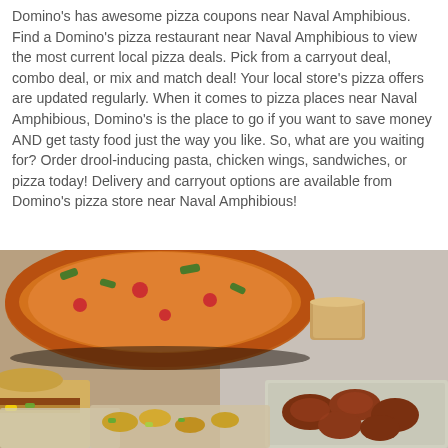Domino's has awesome pizza coupons near Naval Amphibious. Find a Domino's pizza restaurant near Naval Amphibious to view the most current local pizza deals. Pick from a carryout deal, combo deal, or mix and match deal! Your local store's pizza offers are updated regularly. When it comes to pizza places near Naval Amphibious, Domino's is the place to go if you want to save money AND get tasty food just the way you like. So, what are you waiting for? Order drool-inducing pasta, chicken wings, sandwiches, or pizza today! Delivery and carryout options are available from Domino's pizza store near Naval Amphibious!
[Figure (photo): Photo of Domino's food items including pizza, sandwich, chicken wings, pasta, and dipping sauce on a table, with a red 'VIEW FULL MENU' button overlaid in the center.]